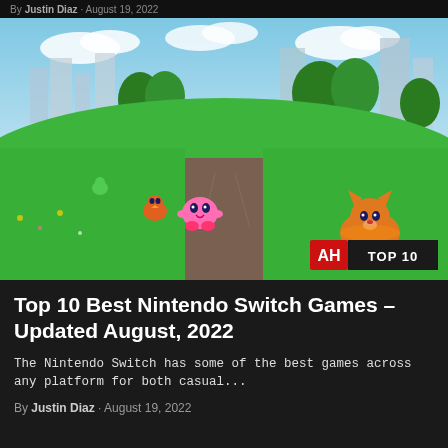By Justin Diaz · August 19, 2022
[Figure (screenshot): Screenshot from a Nintendo Switch game (Kirby and the Forgotten Land) showing Kirby (pink character) running on a dirt path through a green grassy landscape with a city in the background. There is an orange fox-like creature on the right and another character in the middle distance. An 'AH TOP 10' badge is in the bottom-right corner.]
Top 10 Best Nintendo Switch Games – Updated August, 2022
The Nintendo Switch has some of the best games across any platform for both casual...
By Justin Diaz · August 19, 2022